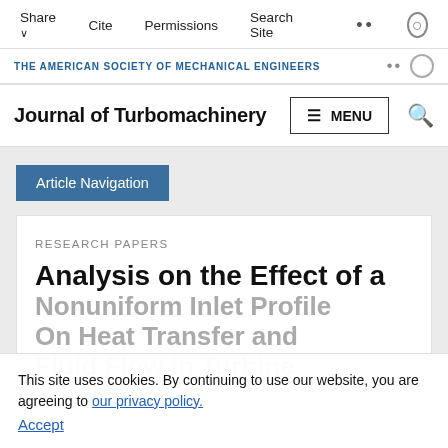Share  Cite  Permissions  Search Site
THE AMERICAN SOCIETY OF MECHANICAL ENGINEERS
Journal of Turbomachinery  MENU
Article Navigation
RESEARCH PAPERS
Analysis on the Effect of a Nonuniform Inlet Profile On Heat Transfer and Fluid Flow in Turbine
This site uses cookies. By continuing to use our website, you are agreeing to our privacy policy. Accept